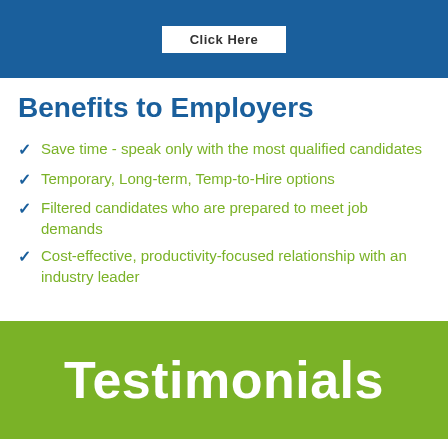[Figure (other): Blue banner with a white 'Click Here' button]
Benefits to Employers
Save time - speak only with the most qualified candidates
Temporary, Long-term, Temp-to-Hire options
Filtered candidates who are prepared to meet job demands
Cost-effective, productivity-focused relationship with an industry leader
Testimonials
[Figure (other): Bottom white area with partial card border visible]